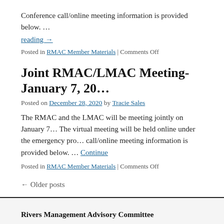Conference call/online meeting information is provided below. …
reading →
Posted in RMAC Member Materials | Comments Off
Joint RMAC/LMAC Meeting- January 7, 20…
Posted on December 28, 2020 by Tracie Sales
The RMAC and the LMAC will be meeting jointly on January 7… The virtual meeting will be held online under the emergency pro… call/online meeting information is provided below. … Continue
Posted in RMAC Member Materials | Comments Off
← Older posts
Rivers Management Advisory Committee